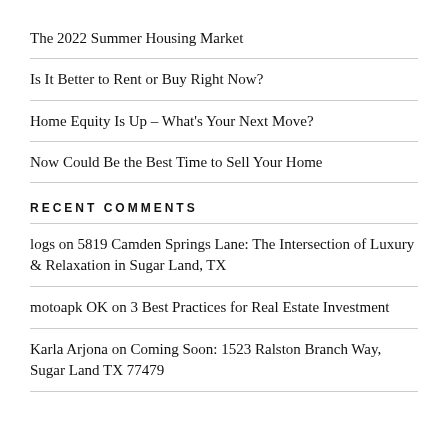The 2022 Summer Housing Market
Is It Better to Rent or Buy Right Now?
Home Equity Is Up – What's Your Next Move?
Now Could Be the Best Time to Sell Your Home
RECENT COMMENTS
logs on 5819 Camden Springs Lane: The Intersection of Luxury & Relaxation in Sugar Land, TX
motoapk OK on 3 Best Practices for Real Estate Investment
Karla Arjona on Coming Soon: 1523 Ralston Branch Way, Sugar Land TX 77479